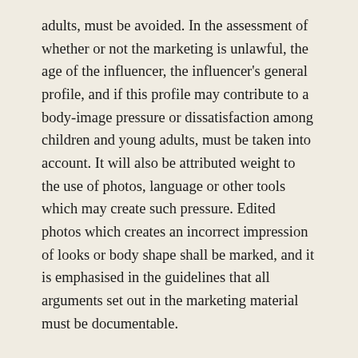adults, must be avoided. In the assessment of whether or not the marketing is unlawful, the age of the influencer, the influencer's general profile, and if this profile may contribute to a body-image pressure or dissatisfaction among children and young adults, must be taken into account. It will also be attributed weight to the use of photos, language or other tools which may create such pressure. Edited photos which creates an incorrect impression of looks or body shape shall be marked, and it is emphasised in the guidelines that all arguments set out in the marketing material must be documentable.
The guidelines are applicable to both influencers and their advertisers. They make clear that influencers are responsible for their own influence and power over children and young adults when they market products and services. The advertisers also have an independent